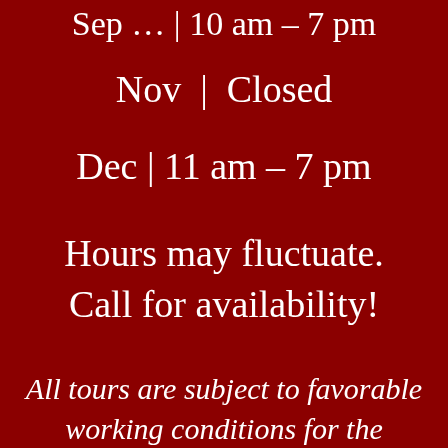Sep … | 10 am – 7 pm
Nov | Closed
Dec | 11 am – 7 pm
Hours may fluctuate. Call for availability!
All tours are subject to favorable working conditions for the